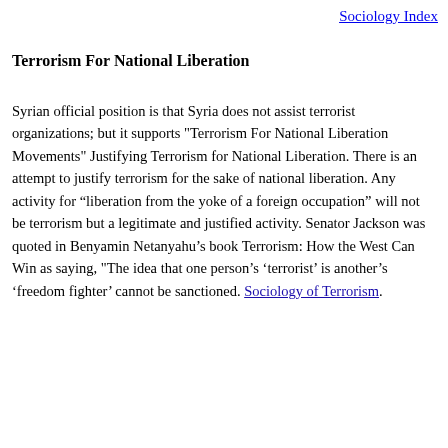Sociology Index
Terrorism For National Liberation
Syrian official position is that Syria does not assist terrorist organizations; but it supports "Terrorism For National Liberation Movements" Justifying Terrorism for National Liberation. There is an attempt to justify terrorism for the sake of national liberation. Any activity for “liberation from the yoke of a foreign occupation” will not be terrorism but a legitimate and justified activity. Senator Jackson was quoted in Benyamin Netanyahu’s book Terrorism: How the West Can Win as saying, "The idea that one person’s ‘terrorist’ is another’s ‘freedom fighter’ cannot be sanctioned. Sociology of Terrorism.